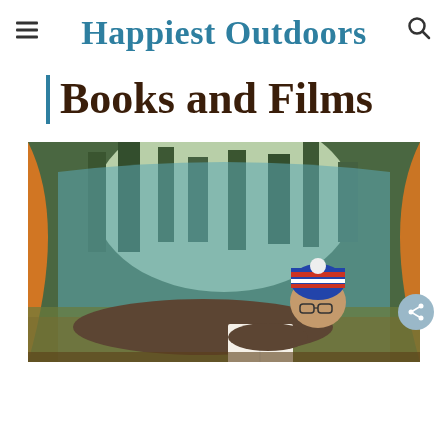Happiest Outdoors
Books and Films
[Figure (photo): Person lying inside a tent reading a book, wearing a colorful striped beanie hat and glasses, with trees visible through the tent opening. Orange and blue tent visible.]